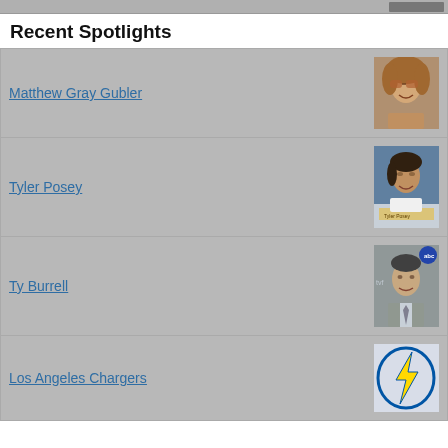Recent Spotlights
Matthew Gray Gubler
[Figure (photo): Photo of Matthew Gray Gubler with long wavy hair and sunglasses]
Tyler Posey
[Figure (photo): Photo of Tyler Posey at what appears to be a convention panel]
Ty Burrell
[Figure (photo): Photo of Ty Burrell at an ABC event]
Los Angeles Chargers
[Figure (logo): Los Angeles Chargers lightning bolt logo]